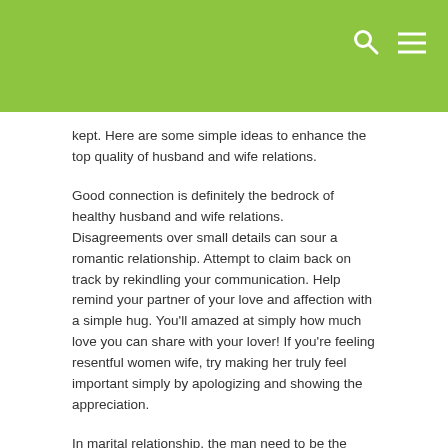kept. Here are some simple ideas to enhance the top quality of husband and wife relations.
Good connection is definitely the bedrock of healthy husband and wife relations. Disagreements over small details can sour a romantic relationship. Attempt to claim back on track by rekindling your communication. Help remind your partner of your love and affection with a simple hug. You'll amazed at simply how much love you can share with your lover! If you're feeling resentful women wife, try making her truly feel important simply by apologizing and showing the appreciation.
In marital relationship, the man need to be the leader plus the protector of his better half. Similarly, the wife need to respect her husband's requires and admit his maintenance. It is also essential to organise particular predicament relating to Allah's will. Mutual respect is the bedrock of a very good marriage. Each party should truly feel loved and valued. Yet , the best romantic relationship is https://bestmailorderbride.info/guide/are-mail-order-brides-legal/ one of value and cooperation. There are many approaches to create a